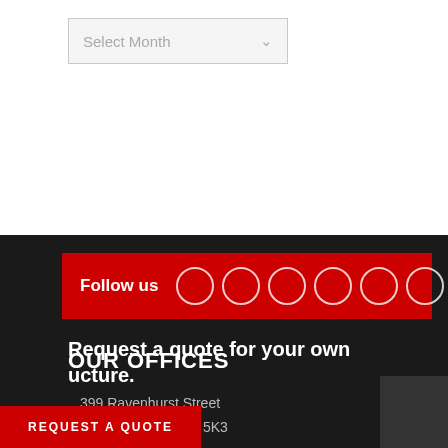[Figure (screenshot): Select Month dropdown input box with grey background and down arrow]
Follow us
OUR OFFICES
399 Ravenhurst Street
Winnipeg, MB R2C 5K3
Canada
1 (866) 657-7172
Request a quote for your own ucture.
REQUEST A QUOTE